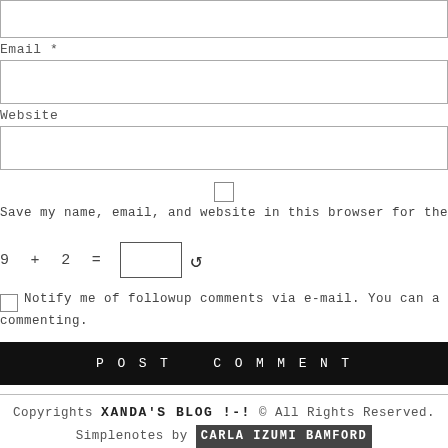Email *
Website
Save my name, email, and website in this browser for the n
9 + 2 =
Notify me of followup comments via e-mail. You can a commenting.
POST COMMENT
Copyrights XANDA'S BLOG !-! © All Rights Reserved. Simplenotes by CARLA IZUMI BAMFORD